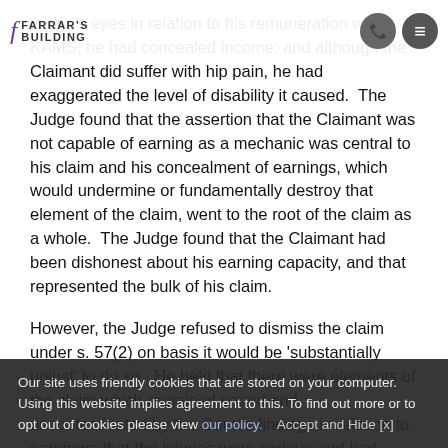FARRAR'S BUILDING
Judge's eyes in relation to his remuneration with KAMS; he had concealed income; and although the Claimant did suffer with hip pain, he had exaggerated the level of disability it caused. The Judge found that the assertion that the Claimant was not capable of earning as a mechanic was central to his claim and his concealment of earnings, which would undermine or fundamentally destroy that element of the claim, went to the root of the claim as a whole. The Judge found that the Claimant had been dishonest about his earning capacity, and that represented the bulk of his claim.
However, the Judge refused to dismiss the claim under s. 57(2) on basis it would be 'substantially unjust' to do so. He held that there were elements of the claim which remained sound and uncontaminated by the Court's findings in relation to earnings; that the injuries were serious and had continuing effects; and that there was an element of the claim brought on behalf of innocent parties who had provided care and assistance to the Claimant.
The Judge instead dismissed all aspects of the cla...
Our site uses friendly cookies that are stored on your computer. Using this website implies agreement to this. To find out more or to opt out of cookies please view our policy.    Accept and Hide [x]